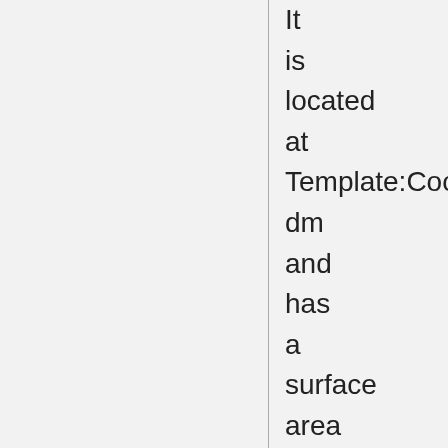It is located at Template:Coordm and has a surface area of 2 034 km². Like